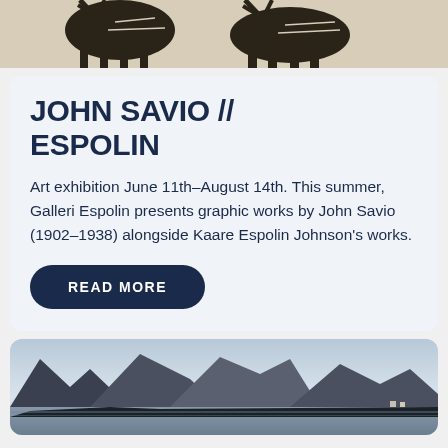[Figure (illustration): Black and white woodcut/linocut illustration showing animal figures (reindeer or similar) against a light background, cropped at top of page]
JOHN SAVIO // ESPOLIN
Art exhibition June 11th–August 14th. This summer, Galleri Espolin presents graphic works by John Savio (1902–1938) alongside Kaare Espolin Johnson's works.
READ MORE
[Figure (photo): Landscape photograph showing mountains reflected in water, likely Norwegian fjord scenery with dramatic rocky peaks and calm water in foreground]